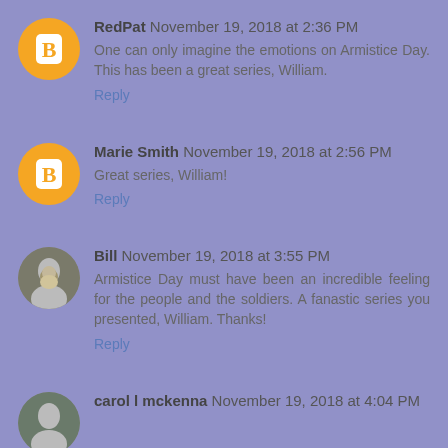RedPat November 19, 2018 at 2:36 PM
One can only imagine the emotions on Armistice Day. This has been a great series, William.
Reply
Marie Smith November 19, 2018 at 2:56 PM
Great series, William!
Reply
Bill November 19, 2018 at 3:55 PM
Armistice Day must have been an incredible feeling for the people and the soldiers. A fanastic series you presented, William. Thanks!
Reply
carol l mckenna November 19, 2018 at 4:04 PM